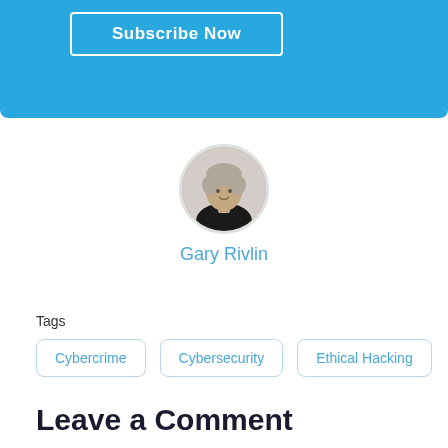[Figure (other): Blue banner section with Subscribe Now button]
[Figure (photo): Circular author avatar photo of Gary Rivlin]
Gary Rivlin
Tags
Cybercrime
Cybersecurity
Ethical Hacking
Leave a Comment
Your email address will not be published. Required fields are